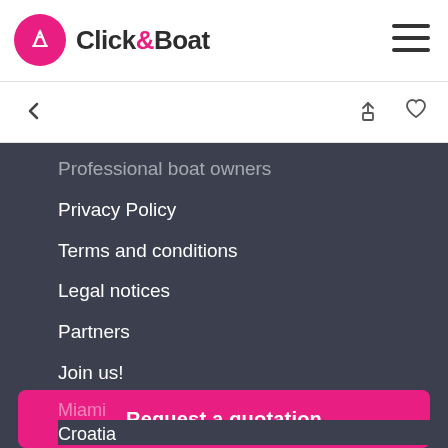Click&Boat
Professional boat owners
Privacy Policy
Terms and conditions
Legal notices
Partners
Join us!
Blog
Ask for a quote
TYPES OF BOATS
Request a quotation
Miami
Croatia